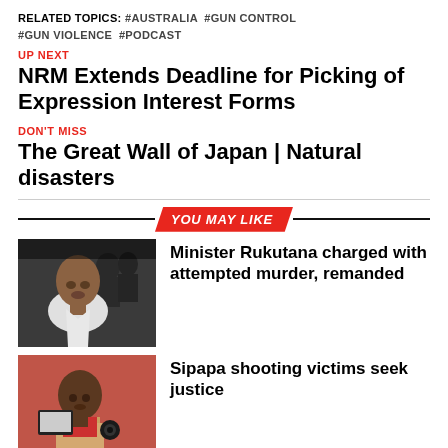RELATED TOPICS: #AUSTRALIA #GUN CONTROL #GUN VIOLENCE #PODCAST
UP NEXT
NRM Extends Deadline for Picking of Expression Interest Forms
DON'T MISS
The Great Wall of Japan | Natural disasters
YOU MAY LIKE
[Figure (photo): Photo of a man in a courtroom or official setting]
Minister Rukutana charged with attempted murder, remanded
[Figure (photo): Photo of a person in a red and beige outfit]
Sipapa shooting victims seek justice
[Figure (photo): Partial photo, person visible at bottom of page]
From Russia with No Immunity | Health